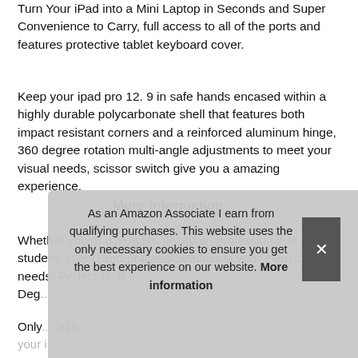Turn Your iPad into a Mini Laptop in Seconds and Super Convenience to Carry, full access to all of the ports and features protective tablet keyboard cover.
Keep your ipad pro 12. 9 in safe hands encased within a highly durable polycarbonate shell that features both impact resistant corners and a reinforced aluminum hinge, 360 degree rotation multi-angle adjustments to meet your visual needs, scissor switch give you a amazing experience.
More information #ad
Whether you're a blogger, designer, professional or student, stylish and practical solution to your everyday needs. Perfect fit, h... Deg...
Only... a1670/a1670/a1821/a1584/a1652 Please turn over your iPad as
As an Amazon Associate I earn from qualifying purchases. This website uses the only necessary cookies to ensure you get the best experience on our website. More information